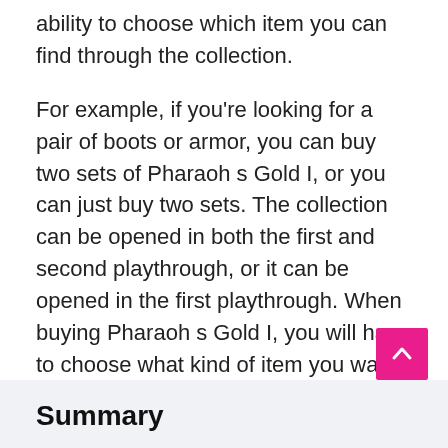ability to choose which item you can find through the collection.
For example, if you're looking for a pair of boots or armor, you can buy two sets of Pharaoh s Gold I, or you can just buy two sets. The collection can be opened in both the first and second playthrough, or it can be opened in the first playthrough. When buying Pharaoh s Gold I, you will have to choose what kind of item you want to get through the Pharaoh s Gold I exchange for each Egyptian collection, and the Pharaoh s Gold I will make available in any Egyptian game for free.
Summary